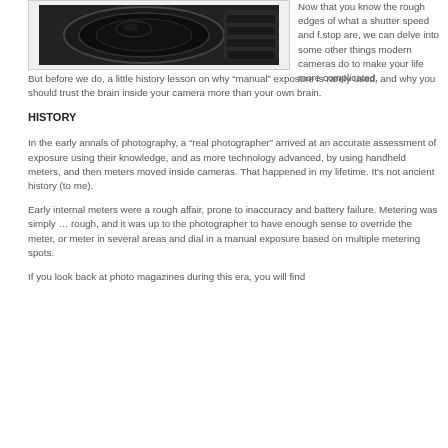[Figure (photo): Close-up photo of a camera lens, partially visible at the top of the page]
Now that you know the rough edges of what a shutter speed and f.stop are, we can delve into some other things modern cameras do to make your life more complicated.
But before we do, a little history lesson on why “manual” exposure is rarely used, and why you should trust the brain inside your camera more than your own brain.
HISTORY
In the early annals of photography, a “real photographer” arrived at an accurate assessment of exposure using their knowledge, and as more technology advanced, by using handheld meters, and then meters moved inside cameras. That happened in my lifetime. It’s not ancient history (to me).
Early internal meters were a rough affair, prone to inaccuracy and battery failure. Metering was simply … rough, and it was up to the photographer to have enough sense to override the meter, or meter in several areas and dial in a manual exposure based on multiple metering spots.
If you look back at photo magazines during this era, you will find